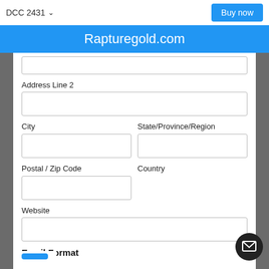DCC 2431
Buy now
Rapturegold.com
Address Line 2
City
State/Province/Region
Postal / Zip Code
Country
Website
Email Format
html
text